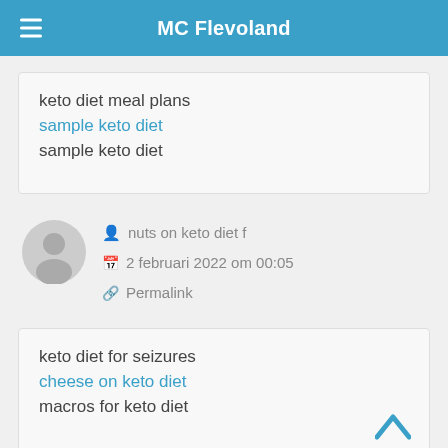MC Flevoland
keto diet meal plans
sample keto diet
sample keto diet
nuts on keto diet f
2 februari 2022 om 00:05
Permalink
keto diet for seizures
cheese on keto diet
macros for keto diet